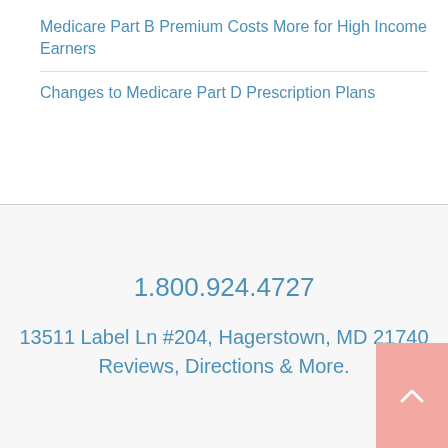Medicare Part B Premium Costs More for High Income Earners
Changes to Medicare Part D Prescription Plans
1.800.924.4727
13511 Label Ln #204, Hagerstown, MD 21740
Reviews, Directions & More.